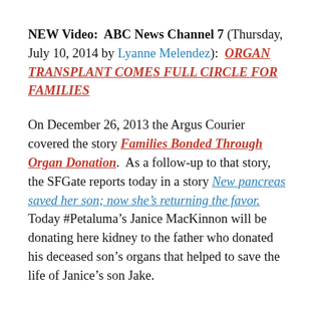NEW Video:  ABC News Channel 7 (Thursday, July 10, 2014 by Lyanne Melendez):  ORGAN TRANSPLANT COMES FULL CIRCLE FOR FAMILIES
On December 26, 2013 the Argus Courier covered the story Families Bonded Through Organ Donation.  As a follow-up to that story, the SFGate reports today in a story New pancreas saved her son; now she’s returning the favor.  Today #Petaluma’s Janice MacKinnon will be donating here kidney to the father who donated his deceased son’s organs that helped to save the life of Janice’s son Jake.